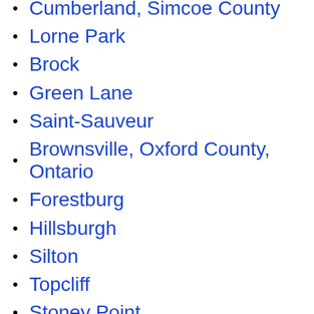Cumberland, Simcoe County
Lorne Park
Brock
Green Lane
Saint-Sauveur
Brownsville, Oxford County, Ontario
Forestburg
Hillsburgh
Silton
Topcliff
Stoney Point
Martintown